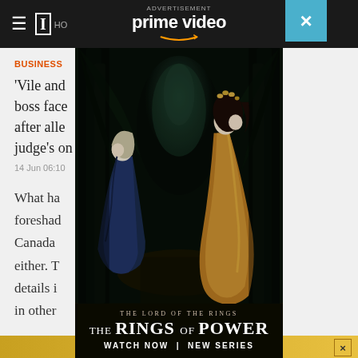≡ [Logo] HO
BUSINESS
'Vile and ... get boss face... y I after alle... abis judge's or...
14 Jun 06:10
What ha... foreshad... ser to Canada... e than either. T... n the details i... ed best in other... ertising
[Figure (photo): Amazon Prime Video advertisement overlay for 'The Lord of the Rings: The Rings of Power'. Shows two elven figures in a mystical forest with glowing lanterns. Text reads: ADVERTISEMENT, prime video, THE LORD OF THE RINGS: THE RINGS OF POWER, WATCH NOW | NEW SERIES. A close (X) button appears top-right.]